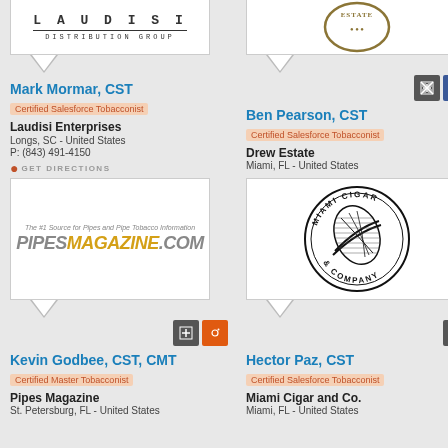[Figure (logo): Laudisi Distribution Group logo - text-based logo]
[Figure (logo): Drew Estate logo - partially visible circular emblem]
Mark Mormar, CST
Certified Salesforce Tobacconist
Laudisi Enterprises
Longs, SC - United States
P: (843) 491-4150
GET DIRECTIONS
Ben Pearson, CST
Certified Salesforce Tobacconist
Drew Estate
Miami, FL - United States
P: (888) 224-6376
GET DIRECTIONS
[Figure (logo): PipesMagazine.com logo with tagline: The #1 Source for Pipes and Pipe Tobacco Information]
[Figure (logo): Miami Cigar and Company circular logo with cigar leaf illustration]
Kevin Godbee, CST, CMT
Certified Master Tobacconist
Pipes Magazine
St. Petersburg, FL - United States
Hector Paz, CST
Certified Salesforce Tobacconist
Miami Cigar and Co.
Miami, FL - United States